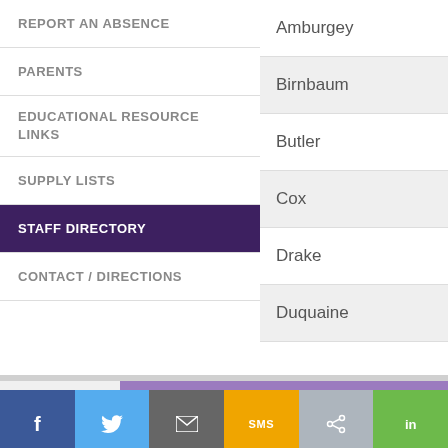REPORT AN ABSENCE
PARENTS
EDUCATIONAL RESOURCE LINKS
SUPPLY LISTS
STAFF DIRECTORY
CONTACT / DIRECTIONS
Amburgey
Birnbaum
Butler
Cox
Drake
Duquaine
[Figure (screenshot): Advertise With Us banner (purple background, partial text visible)]
[Figure (infographic): Social share bar with Facebook, Twitter, Email, SMS, Share, LinkedIn buttons]